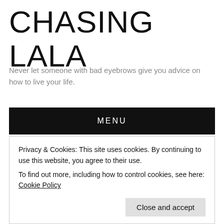CHASING LALA
Never let someone with bad eyebrows give you advice on how to live your life.
MENU
Tag Archives: New York City
[Figure (other): Partial circular avatar image, dark grey, partially visible at bottom left]
Privacy & Cookies: This site uses cookies. By continuing to use this website, you agree to their use.
To find out more, including how to control cookies, see here: Cookie Policy
Close and accept